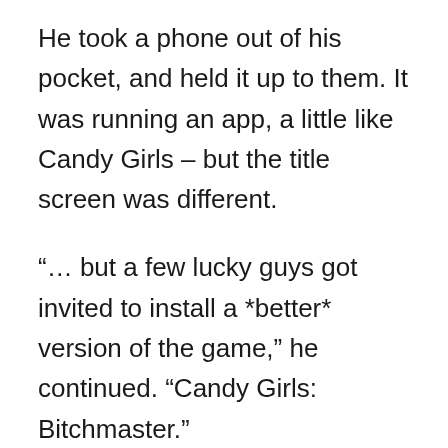He took a phone out of his pocket, and held it up to them. It was running an app, a little like Candy Girls – but the title screen was different.
“… but a few lucky guys got invited to install a *better* version of the game,” he continued. “Candy Girls: Bitchmaster.”
He swiped the screen, and a video appeared. It was of Ichika, nude, masturbating, and saying, “I’m a silly little slut who wants to be raped.”
“In Bitchmaster you get sent photos and video and you play games with them,” said Geoff. “And a few